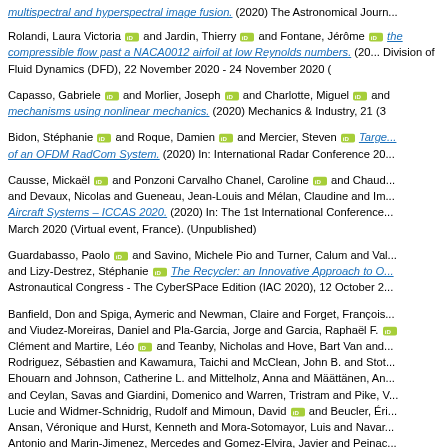multispectral and hyperspectral image fusion. (2020) The Astronomical Journ...
Rolandi, Laura Victoria and Jardin, Thierry and Fontane, Jérôme and ... the compressible flow past a NACA0012 airfoil at low Reynolds numbers. (2020) Division of Fluid Dynamics (DFD), 22 November 2020 - 24 November 2020 (...)
Capasso, Gabriele and Morlier, Joseph and Charlotte, Miguel and ... mechanisms using nonlinear mechanics. (2020) Mechanics & Industry, 21 (3...)
Bidon, Stéphanie and Roque, Damien and Mercier, Steven Target... of an OFDM RadCom System. (2020) In: International Radar Conference 20...
Causse, Mickaël and Ponzoni Carvalho Chanel, Caroline and Chaud... and Devaux, Nicolas and Gueneau, Jean-Louis and Mélan, Claudine and Im... Aircraft Systems – ICCAS 2020. (2020) In: The 1st International Conference... March 2020 (Virtual event, France). (Unpublished)
Guardabasso, Paolo and Savino, Michele Pio and Turner, Calum and Val... and Lizy-Destrez, Stéphanie The Recycler: an Innovative Approach to O... Astronautical Congress - The CyberSPace Edition (IAC 2020), 12 October 2...
Banfield, Don and Spiga, Aymeric and Newman, Claire and Forget, François... and Viudez-Moreiras, Daniel and Pla-Garcia, Jorge and Garcia, Raphaël F. ... Clément and Martire, Léo and Teanby, Nicholas and Hove, Bart Van and... Rodriguez, Sébastien and Kawamura, Taichi and McClean, John B. and Stot... Ehouarn and Johnson, Catherine L. and Mittelholz, Anna and Määttänen, An... and Ceylan, Savas and Giardini, Domenico and Warren, Tristram and Pike, V... Lucie and Widmer-Schnidrig, Rudolf and Mimoun, David and Beucler, Éri... Ansan, Véronique and Hurst, Kenneth and Mora-Sotomayor, Luis and Navar... Antonio and Marin-Jimenez, Mercedes and Gomez-Elvira, Javier and Peinac... Brian T. and Sackett, Stephen and Russell, Christopher T. and Spohn, Tilm...